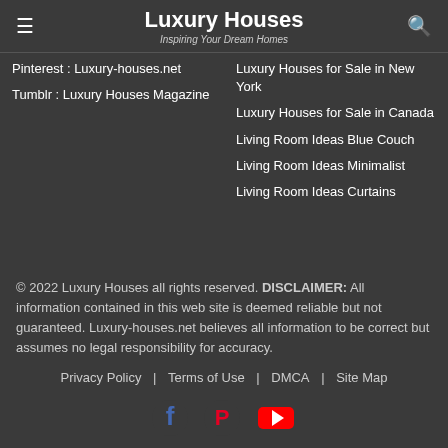Luxury Houses — Inspiring Your Dream Homes
Pinterest : Luxury-houses.net
Tumblr : Luxury Houses Magazine
Luxury Houses for Sale in New York
Luxury Houses for Sale in Canada
Living Room Ideas Blue Couch
Living Room Ideas Minimalist
Living Room Ideas Curtains
© 2022 Luxury Houses all rights reserved. DISCLAIMER: All information contained in this web site is deemed reliable but not guaranteed. Luxury-houses.net believes all information to be correct but assumes no legal responsibility for accuracy.
Privacy Policy | Terms of Use | DMCA | Site Map